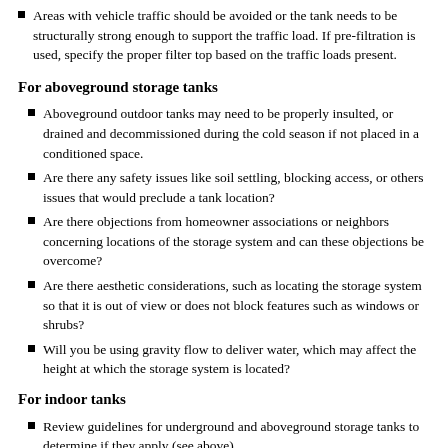Areas with vehicle traffic should be avoided or the tank needs to be structurally strong enough to support the traffic load. If pre-filtration is used, specify the proper filter top based on the traffic loads present.
For aboveground storage tanks
Aboveground outdoor tanks may need to be properly insulted, or drained and decommissioned during the cold season if not placed in a conditioned space.
Are there any safety issues like soil settling, blocking access, or others issues that would preclude a tank location?
Are there objections from homeowner associations or neighbors concerning locations of the storage system and can these objections be overcome?
Are there aesthetic considerations, such as locating the storage system so that it is out of view or does not block features such as windows or shrubs?
Will you be using gravity flow to deliver water, which may affect the height at which the storage system is located?
For indoor tanks
Review guidelines for underground and aboveground storage tanks to determine if they apply (see above).
Ensure provisions (such as floor drains and/or sump pump) are